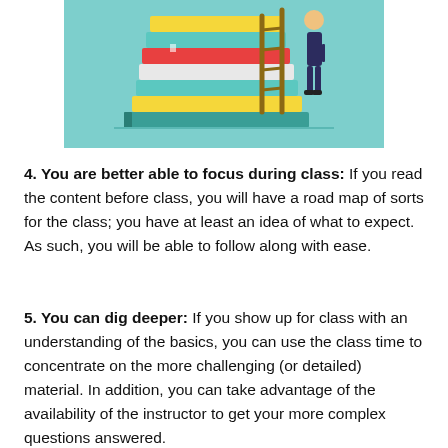[Figure (illustration): Illustration of a person standing next to a tall stack of colorful books with a ladder leaning against them, on a teal/mint background.]
4. You are better able to focus during class: If you read the content before class, you will have a road map of sorts for the class; you have at least an idea of what to expect. As such, you will be able to follow along with ease.
5. You can dig deeper: If you show up for class with an understanding of the basics, you can use the class time to concentrate on the more challenging (or detailed) material. In addition, you can take advantage of the availability of the instructor to get your more complex questions answered.